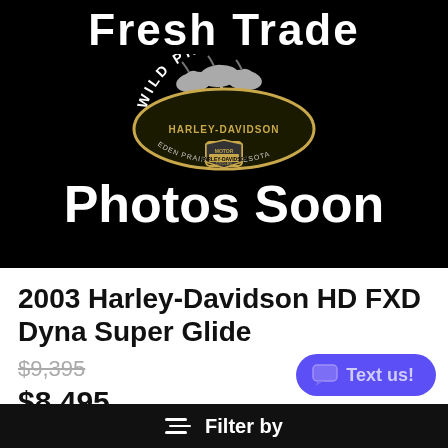[Figure (photo): Black placeholder image for a dealership listing. Text 'Fresh Trade' at top, Wild Prairie Harley-Davidson logo in center, 'Photos Soon' at bottom.]
2003 Harley-Davidson HD FXD Dyna Super Glide
$9,395 (strikethrough original price)
$8,495